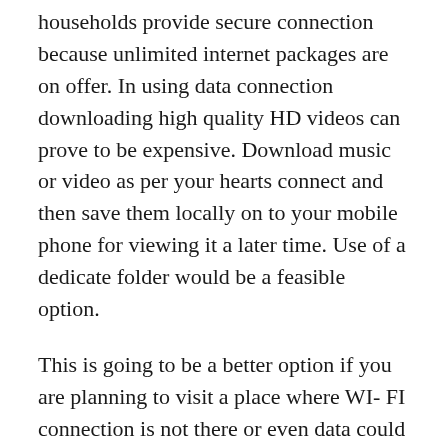households provide secure connection because unlimited internet packages are on offer. In using data connection downloading high quality HD videos can prove to be expensive. Download music or video as per your hearts connect and then save them locally on to your mobile phone for viewing it a later time. Use of a dedicate folder would be a feasible option.
This is going to be a better option if you are planning to visit a place where WI- FI connection is not there or even data could be on an expensive side. No internet connection means you might not be able to watch videos. You might be sitting on top of a mountain and would love to watch a movie with your partner. This seems to be a difficult time and you cannot depend upon internet connection at this juncture.